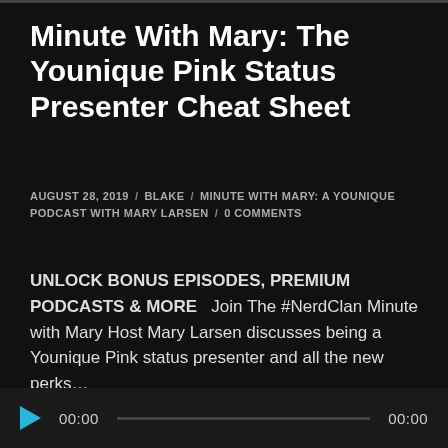Minute With Mary: The Younique Pink Status Presenter Cheat Sheet
AUGUST 28, 2019 / BLAKE / MINUTE WITH MARY: A YOUNIQUE PODCAST WITH MARY LARSEN / 0 COMMENTS
UNLOCK BONUS EPISODES, PREMIUM PODCASTS & MORE   Join The #NerdClan Minute with Mary Host Mary Larsen discusses being a Younique Pink status presenter and all the new perks…
[Figure (other): Audio player with play button, 00:00 current time, progress bar, and 00:00 total duration]